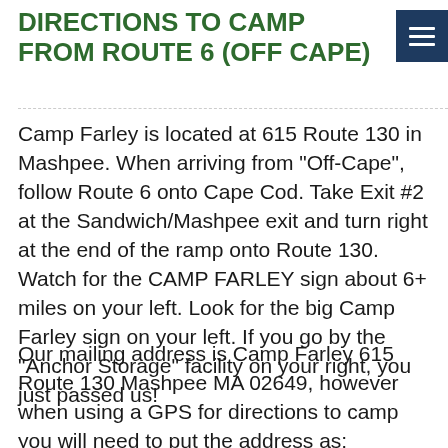DIRECTIONS TO CAMP FROM ROUTE 6 (OFF CAPE)
Camp Farley is located at 615 Route 130 in Mashpee. When arriving from "Off-Cape", follow Route 6 onto Cape Cod. Take Exit #2 at the Sandwich/Mashpee exit and turn right at the end of the ramp onto Route 130. Watch for the CAMP FARLEY sign about 6+ miles on your left. Look for the big Camp Farley sign on your left. If you go by the "Anchor Storage" facility on your right, you just passed us!
Our mailing address is Camp Farley 615 Route 130 Mashpee MA 02649, however when using a GPS for directions to camp you will need to put the address as: